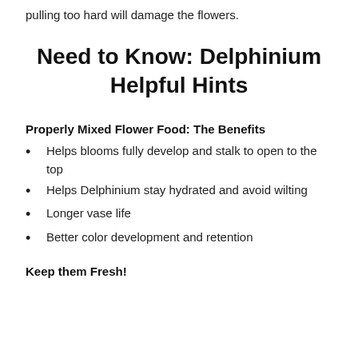pulling too hard will damage the flowers.
Need to Know: Delphinium Helpful Hints
Properly Mixed Flower Food: The Benefits
Helps blooms fully develop and stalk to open to the top
Helps Delphinium stay hydrated and avoid wilting
Longer vase life
Better color development and retention
Keep them Fresh!